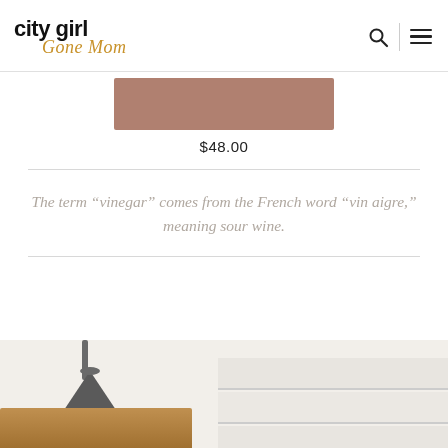city girl Gone Mom — navigation header with search and menu icons
[Figure (photo): Cropped product image showing a mauve/rose-colored rectangular strip (partial product view) with price $48.00 below]
$48.00
The term “vinegar” comes from the French word “vin aigre,” meaning sour wine.
[Figure (photo): Bottom partial photo of a kitchen scene with a dark cone-shaped lamp on the left and a wooden shelf/surface, with white shiplap wall panels on the right]